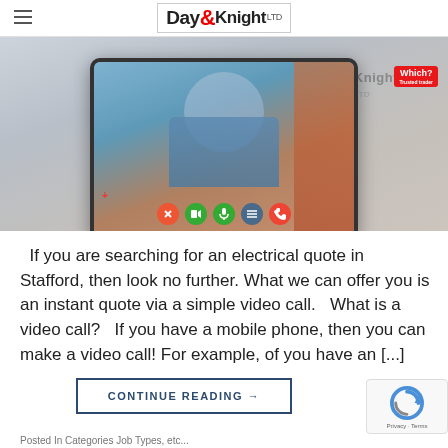Day & Knight LTD
[Figure (screenshot): Person holding a tablet showing a video call with an electrician. The tablet screen shows a man with a grey beard wearing a blue shirt, with video call control buttons at the bottom. A Which? Trusted Trader badge is visible in the upper right area. The Day & Knight Ltd logo appears at the top center.]
If you are searching for an electrical quote in Stafford, then look no further. What we can offer you is an instant quote via a simple video call.   What is a video call?   If you have a mobile phone, then you can make a video call! For example, of you have an [...]
CONTINUE READING →
Posted In Categories Job Types, etc...